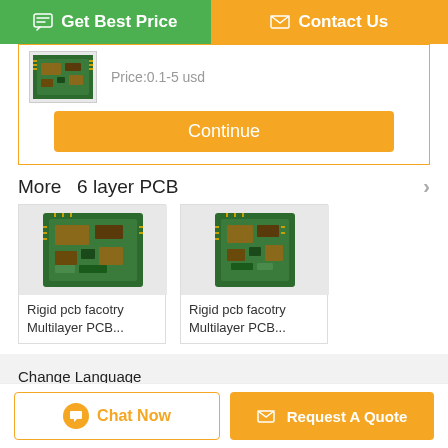[Figure (screenshot): Get Best Price and Contact Us buttons at top]
Price:0.1-5 usd
[Figure (photo): PCB board thumbnail image]
[Figure (other): Continue button]
More  6 layer PCB
[Figure (photo): Rigid pcb facotry Multilayer PCB product card 1]
Rigid pcb facotry Multilayer PCB...
[Figure (photo): Rigid pcb facotry Multilayer PCB product card 2]
Rigid pcb facotry Multilayer PCB...
Change Language
english
[Figure (other): Chat Now button]
[Figure (other): Request A Quote button]